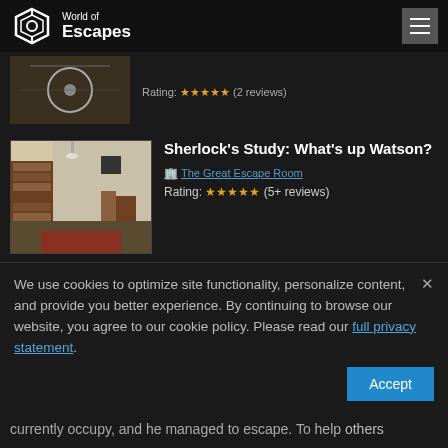World of Escapes
[Figure (screenshot): Truncated listing image showing ceiling/overhead view with medical/lab equipment]
Rating: ★★★★★ (2 reviews)
[Figure (photo): Photo of a room with wooden bookshelves on the left and an open office/study space]
Sherlock's Study: What's up Watson?
The Great Escape Room
Rating: ★★★★★ (5+ reviews)
We use cookies to optimize site functionality, personalize content, and provide you better experience. By continuing to browse our website, you agree to our cookie policy. Please read our full privacy statement.
currently occupy, and he managed to escape. To help others